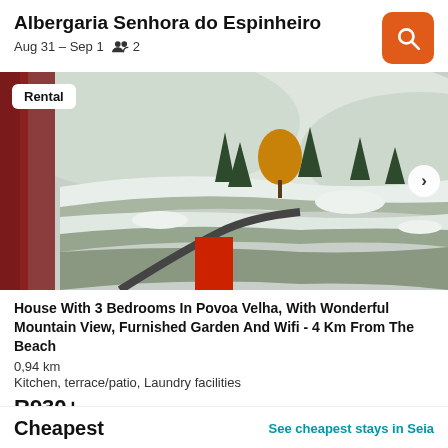Albergaria Senhora do Espinheiro
Aug 31 – Sep 1   👥 2
[Figure (photo): Snowy mountain landscape viewed from a window with red wooden frame. Golden autumn trees visible among snow-covered terrain with stone walls and paths.]
Rental
House With 3 Bedrooms In Povoa Velha, With Wonderful Mountain View, Furnished Garden And Wifi - 4 Km From The Beach
0,94 km
Kitchen, terrace/patio, Laundry facilities
R930+
Cheapest
See cheapest stays in Seia